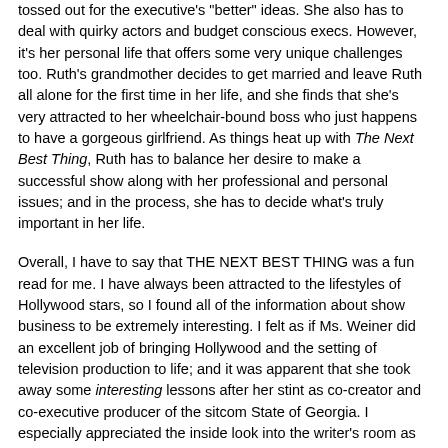tossed out for the executive's "better" ideas. She also has to deal with quirky actors and budget conscious execs. However, it's her personal life that offers some very unique challenges too. Ruth's grandmother decides to get married and leave Ruth all alone for the first time in her life, and she finds that she's very attracted to her wheelchair-bound boss who just happens to have a gorgeous girlfriend. As things heat up with The Next Best Thing, Ruth has to balance her desire to make a successful show along with her professional and personal issues; and in the process, she has to decide what's truly important in her life.
Overall, I have to say that THE NEXT BEST THING was a fun read for me. I have always been attracted to the lifestyles of Hollywood stars, so I found all of the information about show business to be extremely interesting. I felt as if Ms. Weiner did an excellent job of bringing Hollywood and the setting of television production to life; and it was apparent that she took away some interesting lessons after her stint as co-creator and co-executive producer of the sitcom State of Georgia. I especially appreciated the inside look into the writer's room as they bantored with each other and came up